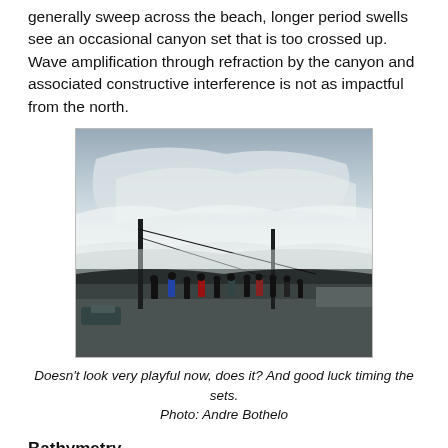generally sweep across the beach, longer period swells see an occasional canyon set that is too crossed up. Wave amplification through refraction by the canyon and associated constructive interference is not as impactful from the north.
[Figure (photo): A massive wave looms behind a crowd of spectators standing on a road or promenade, with telegraph poles visible. The wave appears enormous relative to the people watching.]
Doesn't look very playful now, does it? And good luck timing the sets.
Photo: Andre Bothelo
Bathymetry
Bathymetry is vital in how waves behave when approaching...